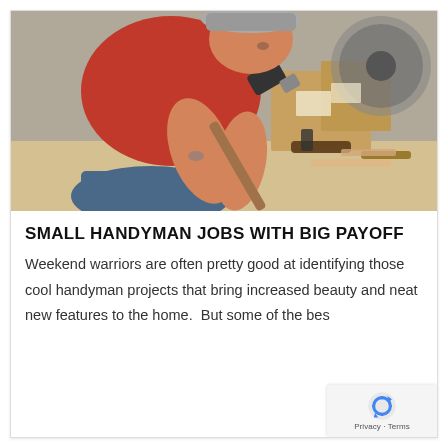[Figure (photo): A man wearing a red t-shirt and a cap, leaning over a work table and using a hammer. Various tools and wood pieces are visible on the work surface. A power saw is visible in the background.]
SMALL HANDYMAN JOBS WITH BIG PAYOFF
Weekend warriors are often pretty good at identifying those cool handyman projects that bring increased beauty and neat new features to the home.  But some of the best